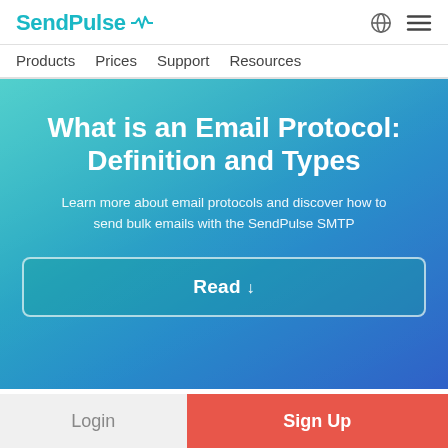SendPulse
Products  Prices  Support  Resources
What is an Email Protocol: Definition and Types
Learn more about email protocols and discover how to send bulk emails with the SendPulse SMTP
Read ↓
Login
Sign Up